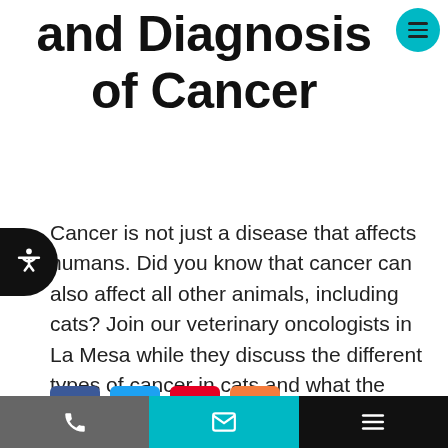and Diagnosis of Cancer
Cancer is not just a disease that affects humans. Did you know that cancer can also affect all other animals, including cats? Join our veterinary oncologists in La Mesa while they discuss the different types of cancer in cats and what the symptoms and diagnosis look like for your beloved pet.
[Figure (other): Social share buttons: Facebook (blue), Twitter (light blue), Pinterest (red), Share/plus (orange)]
Bottom navigation bar with phone, email, and menu icons